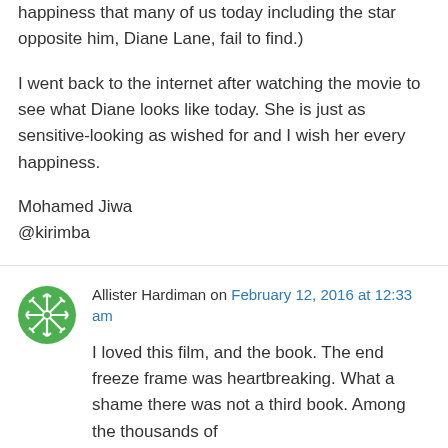happiness that many of us today including the star opposite him, Diane Lane, fail to find.)
I went back to the internet after watching the movie to see what Diane looks like today. She is just as sensitive-looking as wished for and I wish her every happiness.
Mohamed Jiwa
@kirimba
Allister Hardiman on February 12, 2016 at 12:33 am
I loved this film, and the book. The end freeze frame was heartbreaking. What a shame there was not a third book. Among the thousands of